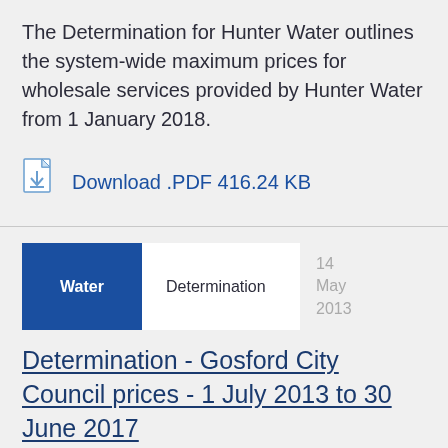The Determination for Hunter Water outlines the system-wide maximum prices for wholesale services provided by Hunter Water from 1 January 2018.
[Figure (other): Download PDF icon with download arrow]
Download .PDF 416.24 KB
Water | Determination | 14 May 2013
Determination - Gosford City Council prices - 1 July 2013 to 30 June 2017
Determination on the prices that Gosford City Council can charge for